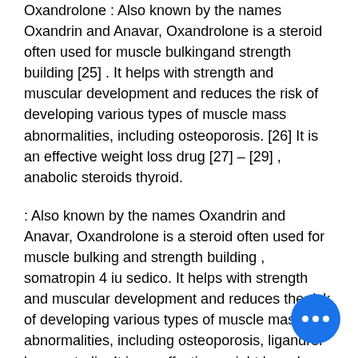Oxandrolone : Also known by the names Oxandrin and Anavar, Oxandrolone is a steroid often used for muscle bulkingand strength building [25] . It helps with strength and muscular development and reduces the risk of developing various types of muscle mass abnormalities, including osteoporosis. [26] It is an effective weight loss drug [27] – [29] , anabolic steroids thyroid.
: Also known by the names Oxandrin and Anavar, Oxandrolone is a steroid often used for muscle bulking and strength building , somatropin 4 iu sedico. It helps with strength and muscular development and reduces the risk of developing various types of muscle mass abnormalities, including osteoporosis, ligandrol buy australia. It is an effective weight loss drug – . Anabolic Steroids : Also known by the name Anavar, Anavar, or Analgesic Steroids are a class of drugs help support muscular growth in humans.